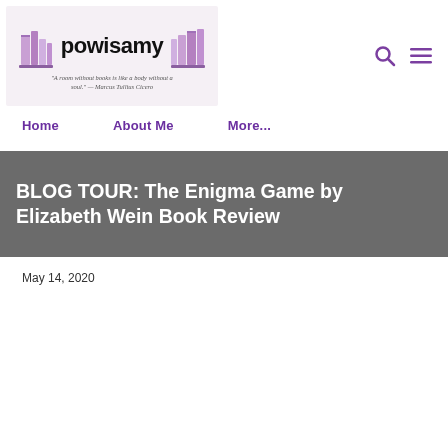[Figure (logo): powisamy blog logo with illustrated bookshelves on each side and tagline: 'A room without books is like a body without a soul.' — Marcus Tullius Cicero]
Home   About Me   More...
BLOG TOUR: The Enigma Game by Elizabeth Wein Book Review
May 14, 2020